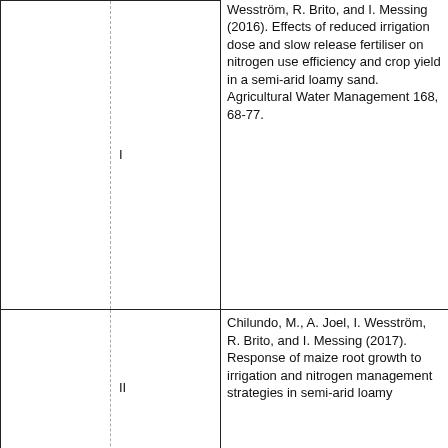|  |  | Reference |
| --- | --- | --- |
|  | I | Wesström, R. Brito, and I. Messing (2016). Effects of reduced irrigation dose and slow release fertiliser on nitrogen use efficiency and crop yield in a semi-arid loamy sand. Agricultural Water Management 168, 68-77. |
|  | II | Chilundo, M., A. Joel, I. Wesström, R. Brito, and I. Messing (2017). Response of maize root growth to irrigation and nitrogen management strategies in semi-arid loamy |